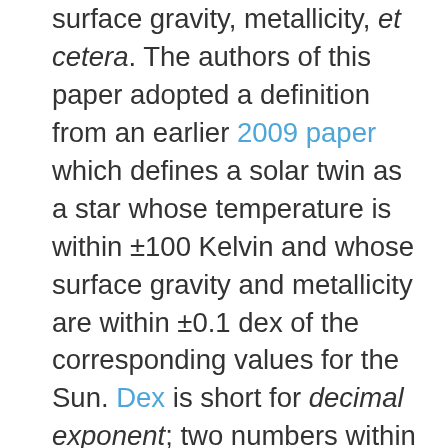surface gravity, metallicity, et cetera. The authors of this paper adopted a definition from an earlier 2009 paper which defines a solar twin as a star whose temperature is within ±100 Kelvin and whose surface gravity and metallicity are within ±0.1 dex of the corresponding values for the Sun. Dex is short for decimal exponent; two numbers within 0.1 dex of each other have a ratio of less than 10^0.1 ≈ 1.2589. (Put another way, they're less